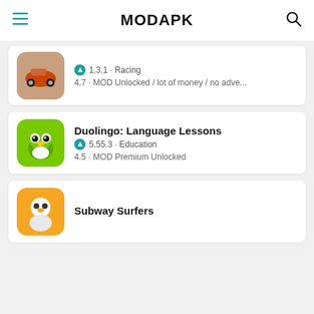MODAPK
1.3.1 · Racing
4.7 · MOD Unlocked / lot of money / no adve...
Duolingo: Language Lessons
5.55.3 · Education
4.5 · MOD Premium Unlocked
Subway Surfers